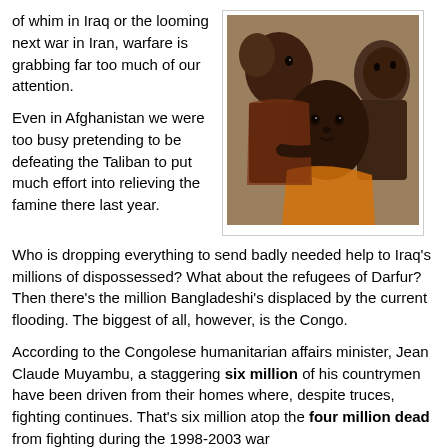of whim in Iraq or the looming next war in Iran, warfare is grabbing far too much of our attention.
[Figure (photo): Photo of several African children, looking directly at the camera. The children appear malnourished and are in close proximity to each other.]
Even in Afghanistan we were too busy pretending to be defeating the Taliban to put much effort into relieving the famine there last year. Who is dropping everything to send badly needed help to Iraq's millions of dispossessed? What about the refugees of Darfur? Then there's the million Bangladeshi's displaced by the current flooding. The biggest of all, however, is the Congo.
According to the Congolese humanitarian affairs minister, Jean Claude Muyambu, a staggering six million of his countrymen have been driven from their homes where, despite truces, fighting continues. That's six million atop the four million dead from fighting during the 1998-2003 war